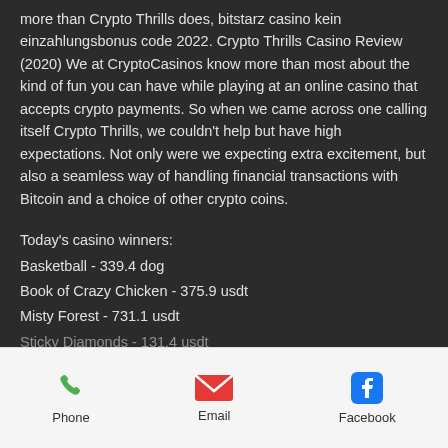more than Crypto Thrills does, bitstarz casino kein einzahlungsbonus code 2022. Crypto Thrills Casino Review (2020) We at CryptoCasinos know more than most about the kind of fun you can have while playing at an online casino that accepts crypto payments. So when we came across one calling itself Crypto Thrills, we couldn't help but have high expectations. Not only were we expecting extra excitement, but also a seamless way of handling financial transactions with Bitcoin and a choice of other crypto coins.
Today's casino winners:
Basketball - 339.4 dog
Book of Crazy Chicken - 375.9 usdt
Misty Forest - 731.1 usdt
Sticky Diamonds - 131.4 usdt
Phone  Email  Facebook